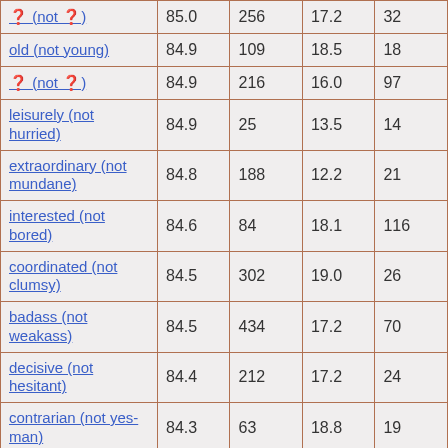| ?(not ?) | 85.0 | 256 | 17.2 | 32 |
| old (not young) | 84.9 | 109 | 18.5 | 18 |
| ?(not ?) | 84.9 | 216 | 16.0 | 97 |
| leisurely (not hurried) | 84.9 | 25 | 13.5 | 14 |
| extraordinary (not mundane) | 84.8 | 188 | 12.2 | 21 |
| interested (not bored) | 84.6 | 84 | 18.1 | 116 |
| coordinated (not clumsy) | 84.5 | 302 | 19.0 | 26 |
| badass (not weakass) | 84.5 | 434 | 17.2 | 70 |
| decisive (not hesitant) | 84.4 | 212 | 17.2 | 24 |
| contrarian (not yes-man) | 84.3 | 63 | 18.8 | 19 |